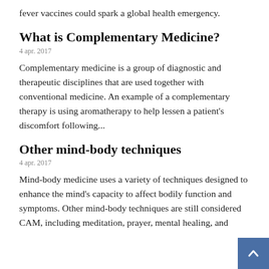fever vaccines could spark a global health emergency.
What is Complementary Medicine?
4 apr. 2017
Complementary medicine is a group of diagnostic and therapeutic disciplines that are used together with conventional medicine. An example of a complementary therapy is using aromatherapy to help lessen a patient's discomfort following...
Other mind-body techniques
4 apr. 2017
Mind-body medicine uses a variety of techniques designed to enhance the mind's capacity to affect bodily function and symptoms. Other mind-body techniques are still considered CAM, including meditation, prayer, mental healing, and